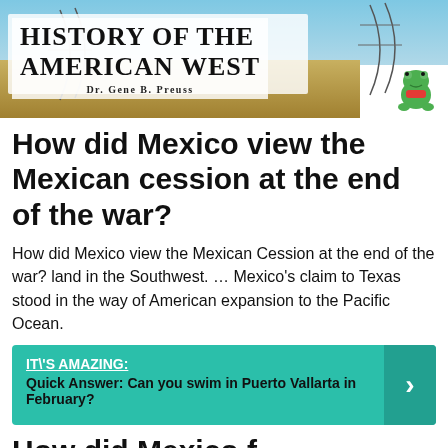[Figure (photo): Banner image for 'History of the American West' by Dr. Gene B. Preuss, showing a desert landscape with a green stuffed frog mascot on the right side]
How did Mexico view the Mexican cession at the end of the war?
How did Mexico view the Mexican Cession at the end of the war? land in the Southwest. ... Mexico's claim to Texas stood in the way of American expansion to the Pacific Ocean.
IT\'S AMAZING:  Quick Answer: Can you swim in Puerto Vallarta in February?
How did Mexico f...